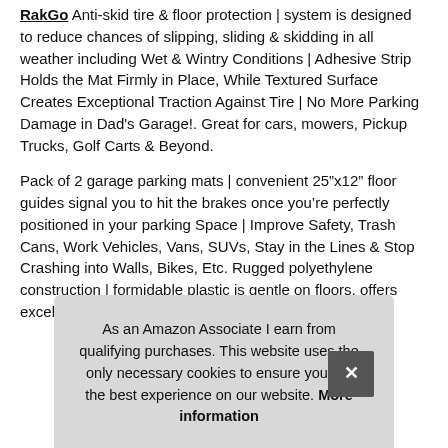RakGo Anti-skid tire & floor protection | system is designed to reduce chances of slipping, sliding & skidding in all weather including Wet & Wintry Conditions | Adhesive Strip Holds the Mat Firmly in Place, While Textured Surface Creates Exceptional Traction Against Tire | No More Parking Damage in Dad's Garage!. Great for cars, mowers, Pickup Trucks, Golf Carts & Beyond.
Pack of 2 garage parking mats | convenient 25"x12" floor guides signal you to hit the brakes once you're perfectly positioned in your parking Space | Improve Safety, Trash Cans, Work Vehicles, Vans, SUVs, Stay in the Lines & Stop Crashing into Walls, Bikes, Etc. Rugged polyethylene construction | formidable plastic is gentle on floors, offers excellent Impact Res[istance] wat[er] with Only
As an Amazon Associate I earn from qualifying purchases. This website uses the only necessary cookies to ensure you get the best experience on our website. More information